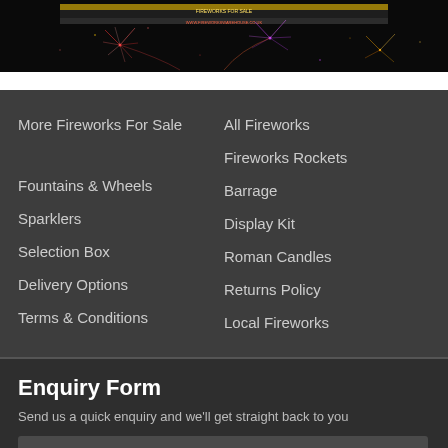[Figure (photo): Fireworks display photo with dark background, colorful fireworks bursting in the night sky, banner/text overlay at top]
More Fireworks For Sale
All Fireworks
Fireworks Rockets
Fountains & Wheels
Barrage
Sparklers
Display Kit
Selection Box
Roman Candles
Delivery Options
Returns Policy
Terms & Conditions
Local Fireworks
Enquiry Form
Send us a quick enquiry and we'll get straight back to you